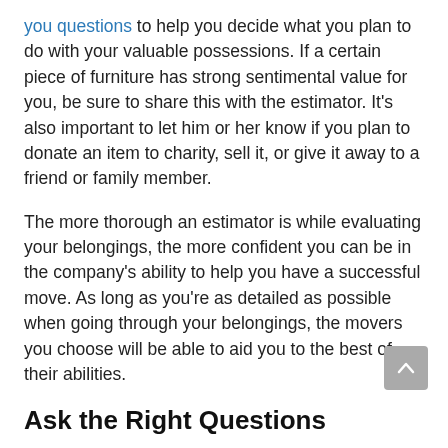you questions to help you decide what you plan to do with your valuable possessions. If a certain piece of furniture has strong sentimental value for you, be sure to share this with the estimator. It's also important to let him or her know if you plan to donate an item to charity, sell it, or give it away to a friend or family member.
The more thorough an estimator is while evaluating your belongings, the more confident you can be in the company's ability to help you have a successful move. As long as you're as detailed as possible when going through your belongings, the movers you choose will be able to aid you to the best of their abilities.
Ask the Right Questions